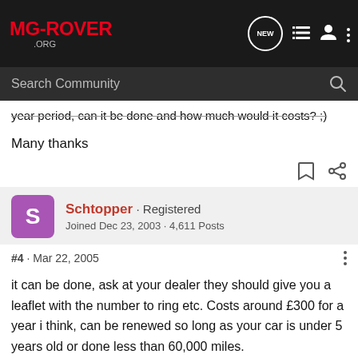MG-ROVER.ORG
year period, can it be done and how much would it costs? ;)
Many thanks
Schtopper · Registered
Joined Dec 23, 2003 · 4,611 Posts
#4 · Mar 22, 2005
it can be done, ask at your dealer they should give you a leaflet with the number to ring etc. Costs around £300 for a year i think, can be renewed so long as your car is under 5 years old or done less than 60,000 miles.